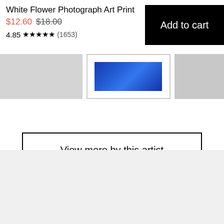White Flower Photograph Art Print
$12.60 $18.00
4.85 ★★★★★ (1653)
Add to cart
[Figure (photo): Three thumbnail images in a row: left is a plain light gray rectangle, middle shows a blue abstract wave art print in a white frame, right is another plain light gray rectangle.]
View more by this artist